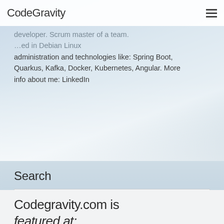CodeGravity
developer. Scrum master of a team. …ed in Debian Linux administration and technologies like: Spring Boot, Quarkus, Kafka, Docker, Kubernetes, Angular. More info about me: LinkedIn
Search
Search …
Codegravity.com is featured at: